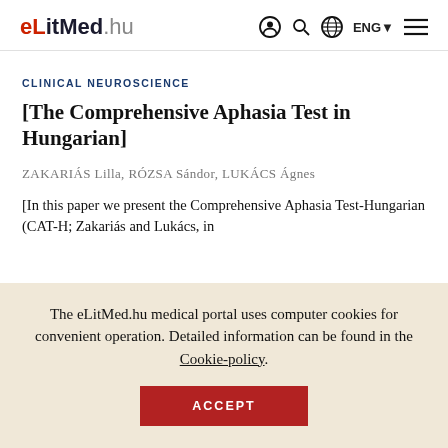eLitMed.hu  ENG
CLINICAL NEUROSCIENCE
[The Comprehensive Aphasia Test in Hungarian]
ZAKARIÁS Lilla, RÓZSA Sándor, LUKÁCS Ágnes
[In this paper we present the Comprehensive Aphasia Test-Hungarian (CAT-H; Zakariás and Lukács, in
The eLitMed.hu medical portal uses computer cookies for convenient operation. Detailed information can be found in the Cookie-policy.
ACCEPT